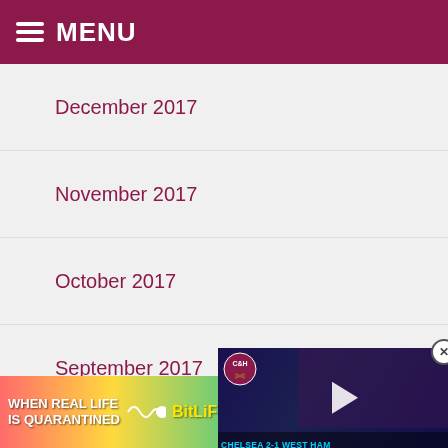MENU
December 2017
November 2017
October 2017
September 2017
August 2017
July 2017
June 2017
[Figure (screenshot): Video player overlay showing a bald man, C&H logo, play button, and text 'CHELSEA 2-1 WEST HAM' with a close button]
[Figure (screenshot): Ad banner: 'WHEN REAL LIFE IS QUARANTINED' with BitLife logo and emoji icons, help and close buttons]